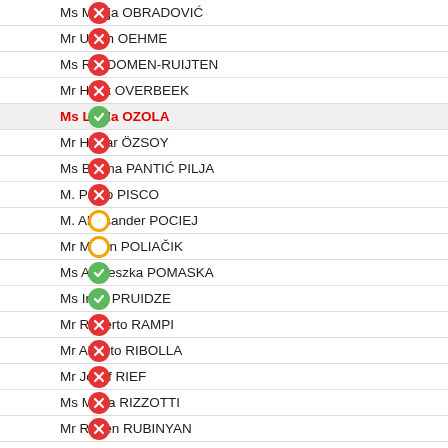Ms Marija OBRADOVIĆ
Mr Ulrich OEHME
Ms Ria OOMEN-RUIJTEN
Mr Henk OVERBEEK
Ms Linda OZOLA
Mr Hişyar ÖZSOY
Ms Biljana PANTIĆ PILJA
M. Paulo PISCO
M. Aleksander POCIEJ
Mr Martin POLIAČIK
Ms Agnieszka POMASKA
Ms Irina PRUIDZE
Mr Roberto RAMPI
Mr Alberto RIBOLLA
Mr Josef RIEF
Ms Maria RIZZOTTI
Mr Ruben RUBINYAN